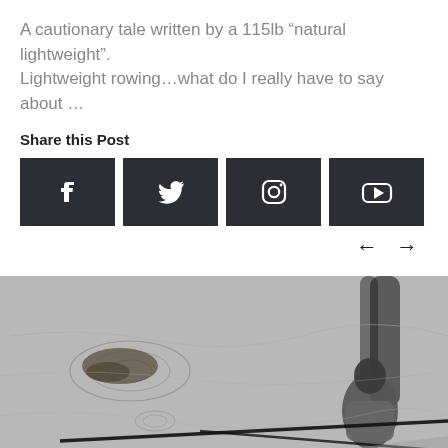A cautionary tale written by a 115lb “natural lightweight”. Lightweight rowing…what do I really have to say about …
Share this Post
[Figure (illustration): Four dark-colored social media share buttons: Facebook, Twitter, Instagram, YouTube]
[Figure (photo): Black and white overhead photo of a rower on water, with ripples visible and rowing oars extended]